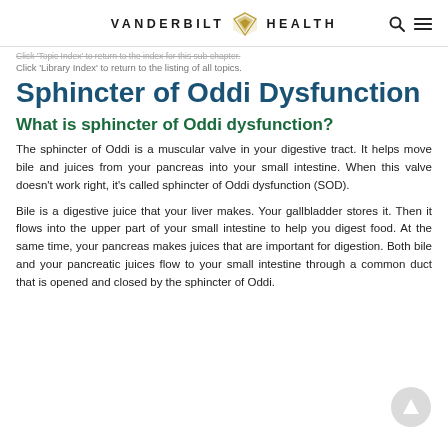VANDERBILT HEALTH
Click 'Topic Index' to return to the index for this sub-chapter.
Click 'Library Index' to return to the listing of all topics.
Sphincter of Oddi Dysfunction
What is sphincter of Oddi dysfunction?
The sphincter of Oddi is a muscular valve in your digestive tract. It helps move bile and juices from your pancreas into your small intestine. When this valve doesn't work right, it's called sphincter of Oddi dysfunction (SOD).
Bile is a digestive juice that your liver makes. Your gallbladder stores it. Then it flows into the upper part of your small intestine to help you digest food. At the same time, your pancreas makes juices that are important for digestion. Both bile and your pancreatic juices flow to your small intestine through a common duct that is opened and closed by the sphincter of Oddi.